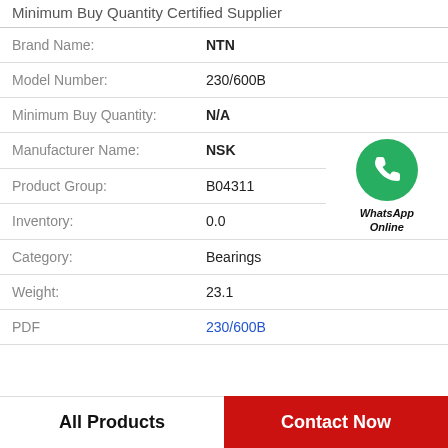Minimum Buy Quantity Certified Supplier
| Brand Name: | NTN |
| Model Number: | 230/600B |
| Minimum Buy Quantity: | N/A |
| Manufacturer Name: | NSK |
| Product Group: | B04311 |
| Inventory: | 0.0 |
| Category: | Bearings |
| Weight: | 23.1 |
| PDF | 230/600B |
[Figure (logo): WhatsApp Online green phone icon with label 'WhatsApp Online']
All Products
Contact Now